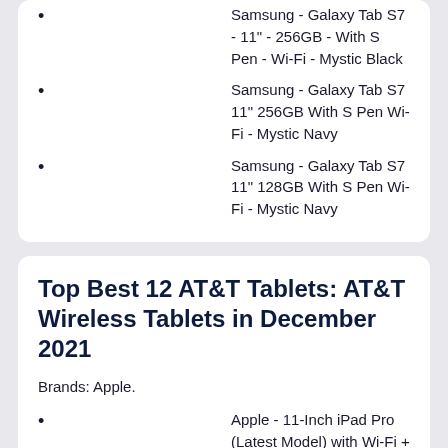Samsung - Galaxy Tab S7 - 11" - 256GB - With S Pen - Wi-Fi - Mystic Black
Samsung - Galaxy Tab S7 11" 256GB With S Pen Wi-Fi - Mystic Navy
Samsung - Galaxy Tab S7 11" 128GB With S Pen Wi-Fi - Mystic Navy
Top Best 12 AT&T Tablets: AT&T Wireless Tablets in December 2021
Brands: Apple.
Apple - 11-Inch iPad Pro (Latest Model) with Wi-Fi + Cellular - 256GB (AT&T) - Space Gray
Apple - 10.9-Inch iPad Air - Latest Model - (4th Generation) with Wi-Fi + Cellular - 64GB (AT&T)